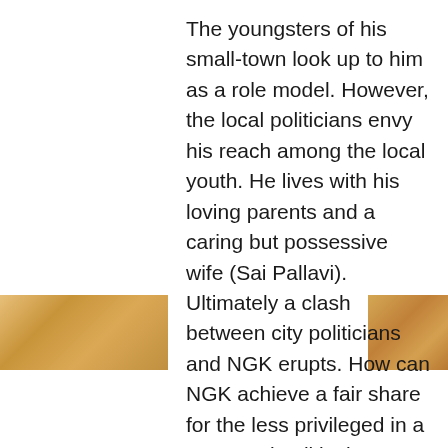The youngsters of his small-town look up to him as a role model. However, the local politicians envy his reach among the local youth. He lives with his loving parents and a caring but possessive wife (Sai Pallavi). Ultimately a clash between city politicians and NGK erupts. How can NGK achieve a fair share for the less privileged in a corrupted political system? And what role does NGK's wife play in this political thriller plot?
To find out, enjoy NGK in Bangla Dubbed Version this Friday, on June 17 2022, on your favorite OTT platform Bongo.
In a post release interview of NGK, Pallavi states that she has been a long-standing fan of Suriya as an actor and feels that her life has come full circle now after sharing the screen space with him.